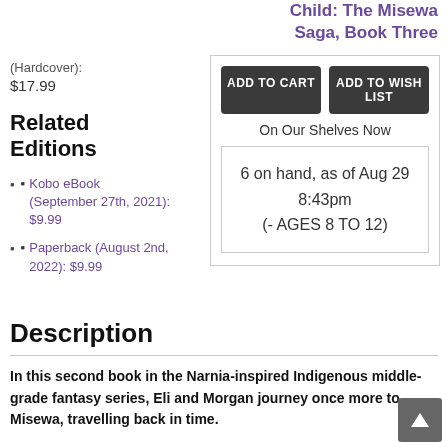Child: The Misewa Saga, Book Three
(Hardcover):
$17.99
Related Editions
Kobo eBook (September 27th, 2021): $9.99
Paperback (August 2nd, 2022): $9.99
ADD TO CART   ADD TO WISH LIST
On Our Shelves Now
6 on hand, as of Aug 29 8:43pm
(- AGES 8 TO 12)
Description
In this second book in the Narnia-inspired Indigenous middle-grade fantasy series, Eli and Morgan journey once more to Misewa, travelling back in time.